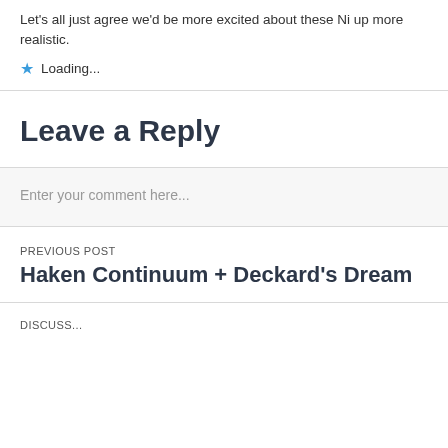Let's all just agree we'd be more excited about these Ni up more realistic.
Loading...
Leave a Reply
Enter your comment here...
PREVIOUS POST
Haken Continuum + Deckard's Dream
Discuss...